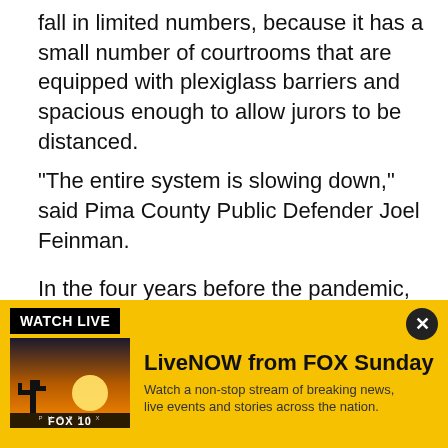fall in limited numbers, because it has a small number of courtrooms that are equipped with plexiglass barriers and spacious enough to allow jurors to be distanced.
"The entire system is slowing down," said Pima County Public Defender Joel Feinman.
In the four years before the pandemic, Arizona’s prison population hovered around 42,000. It started dropping in March and stood at 37,224 on Feb. 12, according to corrections records.
RELATED: State audit paints dire picture for Arizona’s
[Figure (screenshot): FOX 10 Phoenix LiveNOW promotional banner with yellow background, thumbnail image, and Watch Live badge]
WATCH LIVE
LiveNOW from FOX Sunday
Watch a non-stop stream of breaking news, live events and stories across the nation.